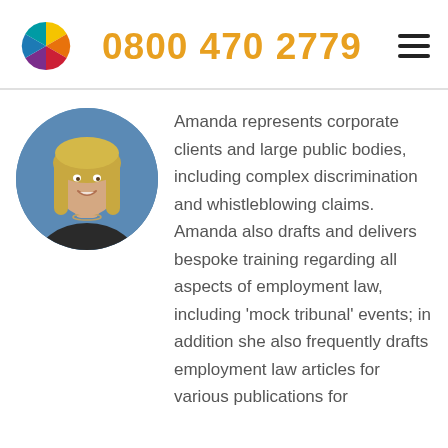[Figure (logo): Colorful pinwheel/flower logo made of colored segments (yellow, red, purple, teal, blue, orange)]
0800 470 2779
[Figure (photo): Professional headshot of Amanda, a woman with long blonde hair, smiling, against a blue background, circular crop]
Amanda represents corporate clients and large public bodies, including complex discrimination and whistleblowing claims. Amanda also drafts and delivers bespoke training regarding all aspects of employment law, including 'mock tribunal' events; in addition she also frequently drafts employment law articles for various publications for